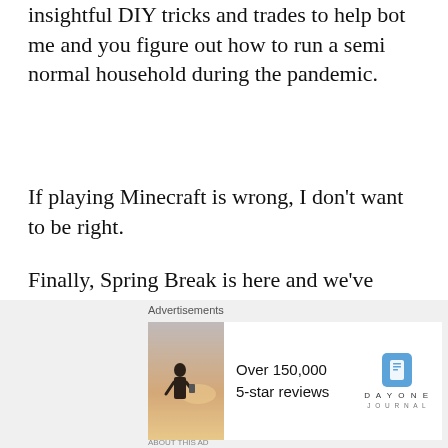insightful DIY tricks and trades to help bot me and you figure out how to run a semi normal household during the pandemic.
If playing Minecraft is wrong, I don't want to be right.
Finally, Spring Break is here and we've booked tickets to go to the zoo. I am so pumped to see all the animals, and my boys are too.
As I try and transition back into the work life, I find it is overrated. I was spending most of my
Advertisements
[Figure (screenshot): Day One Journal advertisement showing a person photographing a sunset, with text 'Over 150,000 5-star reviews' and the Day One Journal logo]